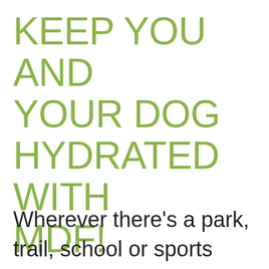KEEP YOU AND YOUR DOG HYDRATED WITH MDF!
Wherever there's a park, trail, school or sports